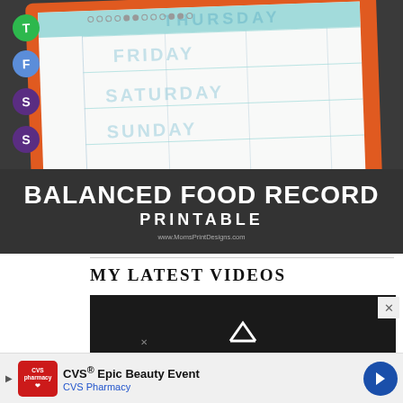[Figure (photo): A clipboard with an orange frame holding a weekly food tracking chart with circles to fill in, showing days including Thursday, Friday, Saturday, Sunday, with letter badges (T, F, S, S) on colored circles. Background is dark gray. White bold text overlay reads BALANCED FOOD RECORD PRINTABLE with URL www.MomsPrintDesigns.com]
MY LATEST VIDEOS
[Figure (screenshot): Dark video player placeholder with a play/checkmark icon]
[Figure (infographic): CVS Epic Beauty Event advertisement banner with CVS Pharmacy logo, navigation arrow icon, close button, and X dismiss button]